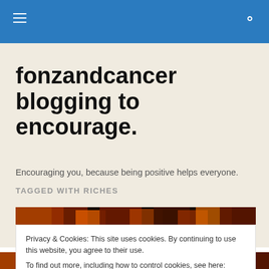Navigation bar with hamburger menu and search icon
fonzandcancer blogging to encourage.
Encouraging you, because being positive helps everyone.
TAGGED WITH RICHES
[Figure (photo): Autumn foliage image strip showing orange and red leaves]
Privacy & Cookies: This site uses cookies. By continuing to use this website, you agree to their use.
To find out more, including how to control cookies, see here: Cookie Policy
[Figure (photo): Second autumn foliage image strip at bottom of page]